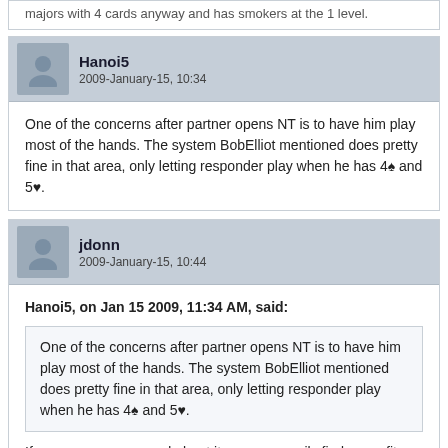majors with 4 cards anyway and has smokers at the 1 level.
Hanoi5
2009-January-15, 10:34
One of the concerns after partner opens NT is to have him play most of the hands. The system BobElliot mentioned does pretty fine in that area, only letting responder play when he has 4♠ and 5♥.
jdonn
2009-January-15, 10:44
Hanoi5, on Jan 15 2009, 11:34 AM, said:
One of the concerns after partner opens NT is to have him play most of the hands. The system BobElliot mentioned does pretty fine in that area, only letting responder play when he has 4♠ and 5♥.
If you are so concerned about it, you can easily find every fit and have opener play all the hands if you don't worry about 4-5 and 5-4 majors with opener.